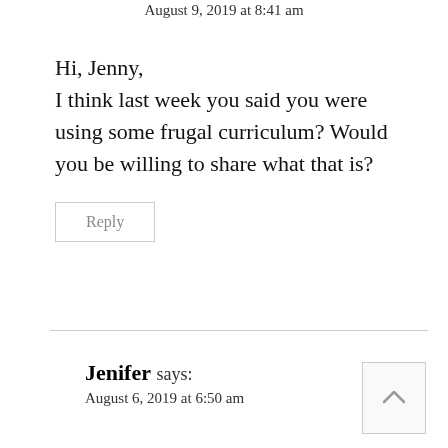August 9, 2019 at 8:41 am
Hi, Jenny,
I think last week you said you were using some frugal curriculum? Would you be willing to share what that is?
Reply
Jenifer says:
August 6, 2019 at 6:50 am